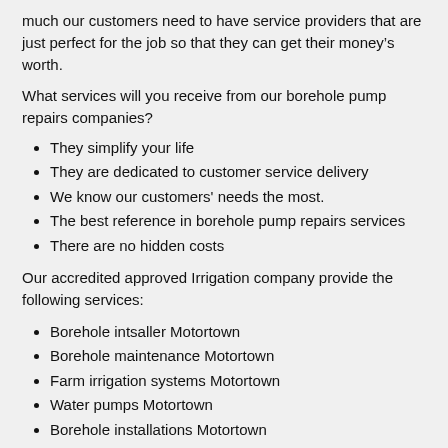much our customers need to have service providers that are just perfect for the job so that they can get their money’s worth.
What services will you receive from our borehole pump repairs companies?
They simplify your life
They are dedicated to customer service delivery
We know our customers' needs the most.
The best reference in borehole pump repairs services
There are no hidden costs
Our accredited approved Irrigation company provide the following services:
Borehole intsaller Motortown
Borehole maintenance Motortown
Farm irrigation systems Motortown
Water pumps Motortown
Borehole installations Motortown
Water tanks installer Motortown
Irrigation installations Motortown
Borehole water treatment Motortown
Borehole cleaning Motortown
Borehole companies Motortown
Borehole pump intsaller Motortown
Garden irrigation pump Motortown
Borehole testing Motortown